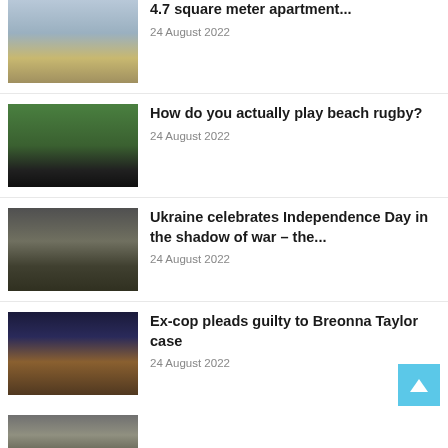[Figure (photo): Photo near Eiffel Tower area with monument and crowd]
4.7 square meter apartment...
24 August 2022
[Figure (photo): Group of people posing outdoors, beach rugby team]
How do you actually play beach rugby?
24 August 2022
[Figure (photo): Military tank with Ukrainian flag and soldier]
Ukraine celebrates Independence Day in the shadow of war – the...
24 August 2022
[Figure (photo): Portrait of Breonna Taylor smiling in uniform]
Ex-cop pleads guilty to Breonna Taylor case
24 August 2022
[Figure (photo): Partial photo visible at bottom of page]